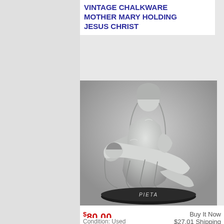VINTAGE CHALKWARE MOTHER MARY HOLDING JESUS CHRIST
[Figure (photo): A vintage chalkware Pieta statue depicting Mother Mary holding the body of Jesus Christ. The statue is white/grey in color and sits on a black oval base inscribed with 'PIETA'.]
$80.00
Buy It Now
$27.01 Shipping
Condition: Used